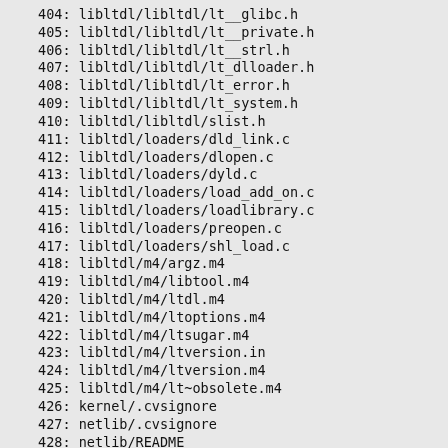404: libltdl/libltdl/lt__glibc.h
405: libltdl/libltdl/lt__private.h
406: libltdl/libltdl/lt__strl.h
407: libltdl/libltdl/lt_dlloader.h
408: libltdl/libltdl/lt_error.h
409: libltdl/libltdl/lt_system.h
410: libltdl/libltdl/slist.h
411: libltdl/loaders/dld_link.c
412: libltdl/loaders/dlopen.c
413: libltdl/loaders/dyld.c
414: libltdl/loaders/load_add_on.c
415: libltdl/loaders/loadlibrary.c
416: libltdl/loaders/preopen.c
417: libltdl/loaders/shl_load.c
418: libltdl/m4/argz.m4
419: libltdl/m4/libtool.m4
420: libltdl/m4/ltdl.m4
421: libltdl/m4/ltoptions.m4
422: libltdl/m4/ltsugar.m4
423: libltdl/m4/ltversion.in
424: libltdl/m4/ltversion.m4
425: libltdl/m4/lt~obsolete.m4
426: kernel/.cvsignore
427: netlib/.cvsignore
428: netlib/README
429: test/checkans.fs
430: test/checkans.out
431: test/coretest.fs
432: test/coretest.out
433: test/deferred.fs